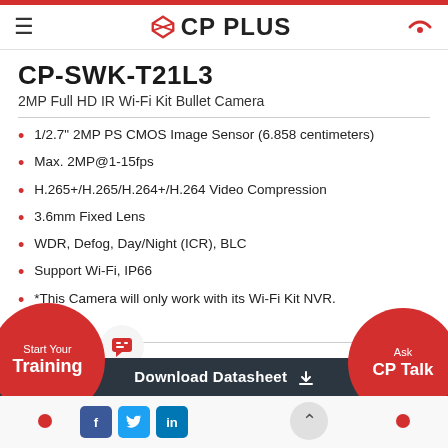CP PLUS
CP-SWK-T21L3
2MP Full HD IR Wi-Fi Kit Bullet Camera
1/2.7" 2MP PS CMOS Image Sensor (6.858 centimeters)
Max. 2MP@1-15fps
H.265+/H.265/H.264+/H.264 Video Compression
3.6mm Fixed Lens
WDR, Defog, Day/Night (ICR), BLC
Support Wi-Fi, IP66
*This Camera will only work with its Wi-Fi Kit NVR.
Download Datasheet
Start Your Training
Ask CP Talk